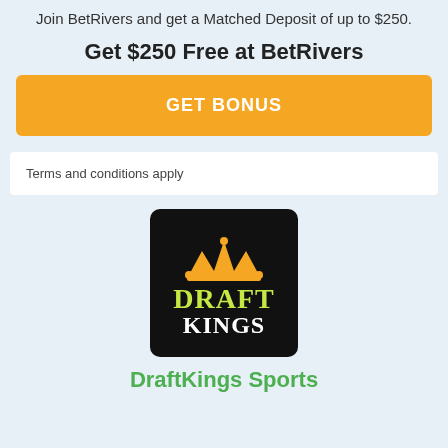Join BetRivers and get a Matched Deposit of up to $250.
Get $250 Free at BetRivers
[Figure (other): Orange GET BONUS button]
Terms and conditions apply
[Figure (logo): DraftKings logo on black background with orange crown and green text]
DraftKings Sports